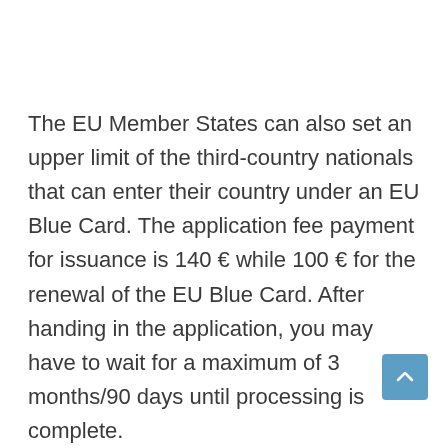The EU Member States can also set an upper limit of the third-country nationals that can enter their country under an EU Blue Card. The application fee payment for issuance is 140 € while 100 € for the renewal of the EU Blue Card. After handing in the application, you may have to wait for a maximum of 3 months/90 days until processing is complete.